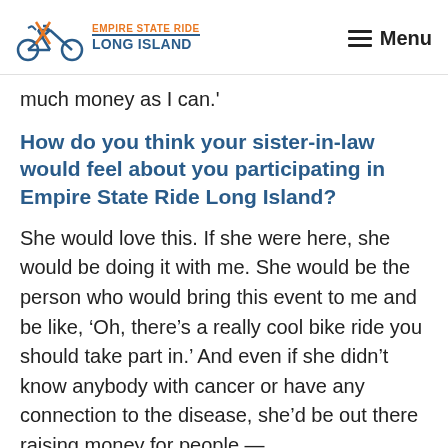EMPIRE STATE RIDE LONG ISLAND  Menu
much money as I can.'
How do you think your sister-in-law would feel about you participating in Empire State Ride Long Island?
She would love this. If she were here, she would be doing it with me. She would be the person who would bring this event to me and be like, ‘Oh, there’s a really cool bike ride you should take part in.’ And even if she didn’t know anybody with cancer or have any connection to the disease, she’d be out there raising money for people —